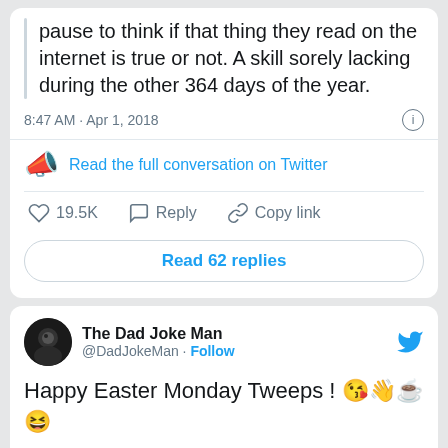pause to think if that thing they read on the internet is true or not. A skill sorely lacking during the other 364 days of the year.
8:47 AM · Apr 1, 2018
Read the full conversation on Twitter
19.5K   Reply   Copy link
Read 62 replies
The Dad Joke Man @DadJokeMan · Follow
Happy Easter Monday Tweeps ! 😘👋☕😆
[Figure (screenshot): Meme image showing speech bubble with text YOU IDIOT. on a background with trees and sky]